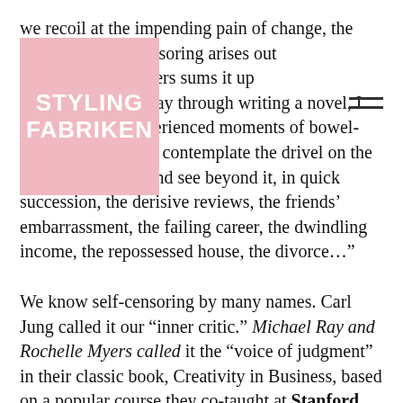[Figure (logo): Pink rectangular logo with white text reading STYLING FABRIKEN]
we recoil at the impending pain of change, the normalcy, self-censoring arises out novelist Sarah Waters sums it up eloquently: “Midway through writing a novel, I have regularly experienced moments of bowel-curdling terror, as I contemplate the drivel on the screen before me and see beyond it, in quick succession, the derisive reviews, the friends’ embarrassment, the failing career, the dwindling income, the repossessed house, the divorce…”
We know self-censoring by many names. Carl Jung called it our “inner critic.” Michael Ray and Rochelle Myers called it the “voice of judgment” in their classic book, Creativity in Business, based on a popular course they co-taught at Stanford.